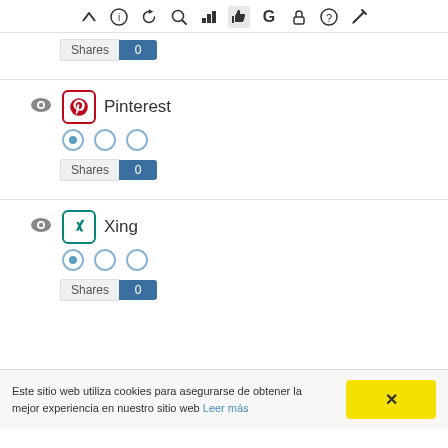[Figure (screenshot): Web application toolbar with icons: chevron up, info, refresh, search, bar chart, thumbs up (active/highlighted), G logo, lock, question mark, pencil]
Shares 0
[Figure (screenshot): Pinterest social sharing widget row with eye toggle icon, Pinterest logo icon, Pinterest label, radio buttons, and Shares 0 counter]
Shares 0
[Figure (screenshot): Xing social sharing widget row with eye toggle icon, Xing logo icon, Xing label, radio buttons, and Shares 0 counter]
Shares 0
Este sitio web utiliza cookies para asegurarse de obtener la mejor experiencia en nuestro sitio web Leer más